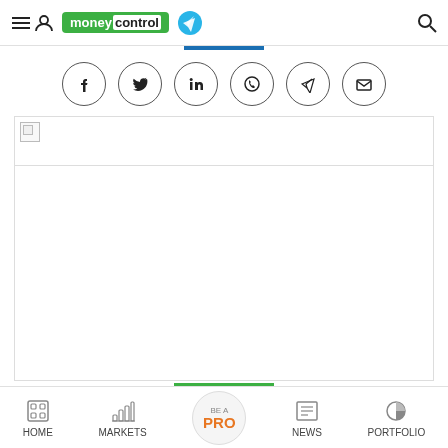moneycontrol
[Figure (screenshot): Social share icons row: Facebook, Twitter, LinkedIn, WhatsApp, Telegram, Email — each in a circle outline]
[Figure (photo): Article image placeholder (broken image icon) with green progress bar below]
The Ducati Panigale V2 was only recently
HOME   MARKETS   BE A PRO   NEWS   PORTFOLIO